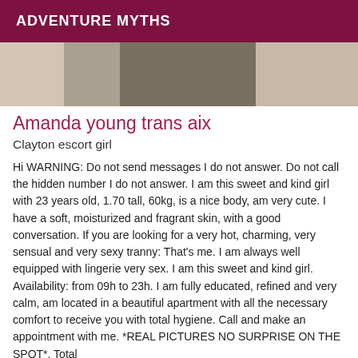ADVENTURE MYTHS
[Figure (photo): Partial photo of a person, cropped showing shoulders/upper body with dark top, blurred background]
Amanda young trans aix
Clayton escort girl
Hi WARNING: Do not send messages I do not answer. Do not call the hidden number I do not answer. I am this sweet and kind girl with 23 years old, 1.70 tall, 60kg, is a nice body, am very cute. I have a soft, moisturized and fragrant skin, with a good conversation. If you are looking for a very hot, charming, very sensual and very sexy tranny: That's me. I am always well equipped with lingerie very sex. I am this sweet and kind girl. Availability: from 09h to 23h. I am fully educated, refined and very calm, am located in a beautiful apartment with all the necessary comfort to receive you with total hygiene. Call and make an appointment with me. *REAL PICTURES NO SURPRISE ON THE SPOT*. Total